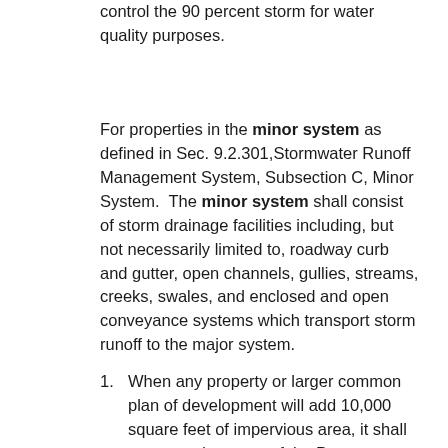control the 90 percent storm for water quality purposes.
For properties in the minor system as defined in Sec. 9.2.301,Stormwater Runoff Management System, Subsection C, Minor System.  The minor system shall consist of storm drainage facilities including, but not necessarily limited to, roadway curb and gutter, open channels, gullies, streams, creeks, swales, and enclosed and open conveyance systems which transport storm runoff to the major system.
When any property or larger common plan of development will add 10,000 square feet of impervious area, it shall meet requirements of the Post Construction Storm Water Best Management Practices Manual and ensure that post-development runoff from the five-year, 25-year, and 100-year storm event results in no increase in peak flow rates from the entire site, in accordance with the most